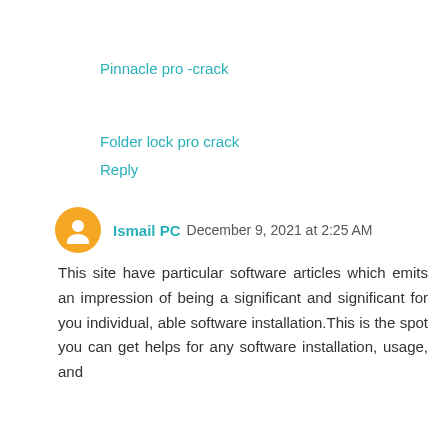Pinnacle pro -crack
Folder lock pro crack
Reply
Ismail PC December 9, 2021 at 2:25 AM
This site have particular software articles which emits an impression of being a significant and significant for you individual, able software installation.This is the spot you can get helps for any software installation, usage, and